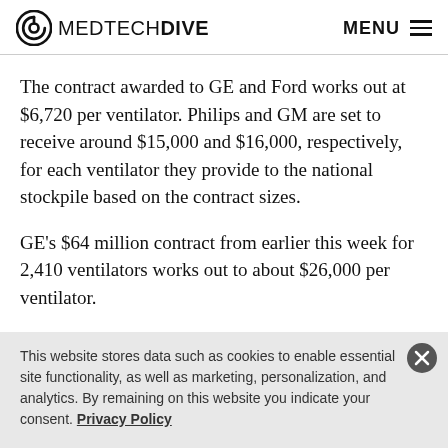MEDTECHDIVE  MENU
The contract awarded to GE and Ford works out at $6,720 per ventilator. Philips and GM are set to receive around $15,000 and $16,000, respectively, for each ventilator they provide to the national stockpile based on the contract sizes.
GE’s $64 million contract from earlier this week for 2,410 ventilators works out to about $26,000 per ventilator.
This website stores data such as cookies to enable essential site functionality, as well as marketing, personalization, and analytics. By remaining on this website you indicate your consent. Privacy Policy